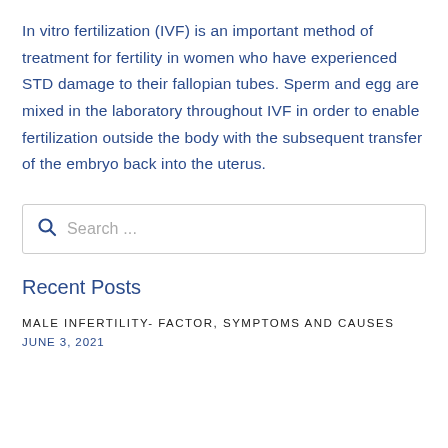In vitro fertilization (IVF) is an important method of treatment for fertility in women who have experienced STD damage to their fallopian tubes. Sperm and egg are mixed in the laboratory throughout IVF in order to enable fertilization outside the body with the subsequent transfer of the embryo back into the uterus.
Search ...
Recent Posts
MALE INFERTILITY- FACTOR, SYMPTOMS AND CAUSES JUNE 3, 2021